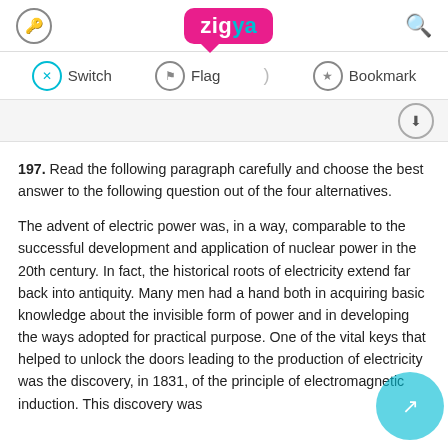Zigya — Switch | Flag | Bookmark navigation bar
197.  Read the following paragraph carefully and choose the best answer to the following question out of the four alternatives.
The advent of electric power was, in a way, comparable to the successful development and application of nuclear power in the 20th century. In fact, the historical roots of electricity extend far back into antiquity. Many men had a hand both in acquiring basic knowledge about the invisible form of power and in developing the ways adopted for practical purpose. One of the vital keys that helped to unlock the doors leading to the production of electricity was the discovery, in 1831, of the principle of electromagnetic induction. This discovery was